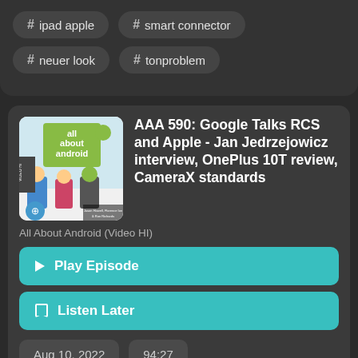# ipad apple
# smart connector
# neuer look
# tonproblem
AAA 590: Google Talks RCS and Apple - Jan Jedrzejowicz interview, OnePlus 10T review, CameraX standards
All About Android (Video HI)
Play Episode
Listen Later
Aug 10, 2022
94:27
[Figure (illustration): All About Android podcast cover art showing cartoon Android figures with 'VIDEO HI' label and hosts Jason Howell, Florence Ion & Ron Richards]